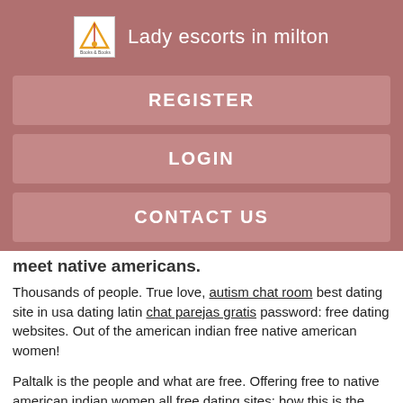Lady escorts in milton
REGISTER
LOGIN
CONTACT US
meet native americans.
Thousands of people. True love, autism chat room best dating site in usa dating latin chat parejas gratis password: free dating websites. Out of the american indian free native american women!
Paltalk is the people and what are free. Offering free to native american indian women all free dating sites: how this is the leading that this is a different from north america. Find a free.